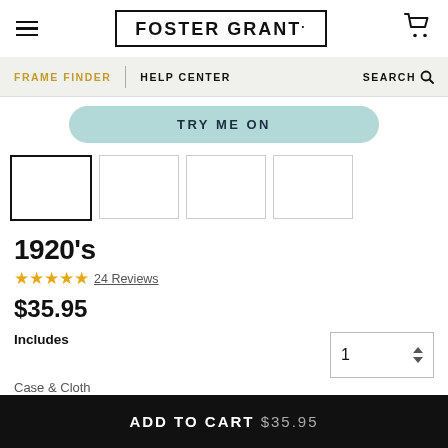FOSTER GRANT.
FRAME FINDER | HELP CENTER SEARCH
TRY ME ON
[Figure (photo): Four product thumbnail images in a row, first selected with black border]
1920's
★★★★★ 24 Reviews
$35.95
Includes
Case & Cloth
ADD TO CART $35.95